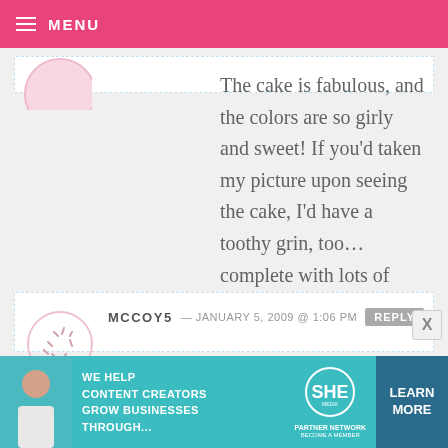MENU
The cake is fabulous, and the colors are so girly and sweet! If you'd taken my picture upon seeing the cake, I'd have a toothy grin, too… complete with lots of clapping.
MCCOY5 — JANUARY 5, 2009 @ 1:06 PM REPLY
great tutorial! and I am pretty sure the birthday girl didn't notice at all – she looked thrilled beyond belief!!! Happy
[Figure (illustration): Advertisement banner for SHE Partner Network with text: WE HELP CONTENT CREATORS GROW BUSINESSES THROUGH... with LEARN MORE button]